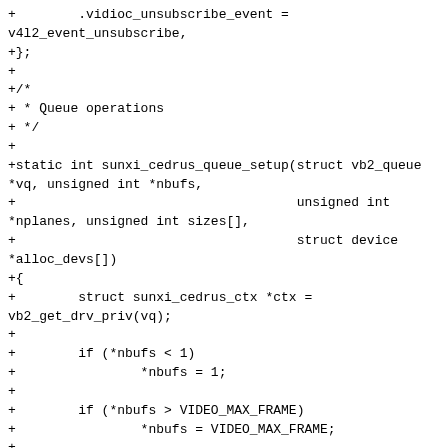+        .vidioc_unsubscribe_event =
v4l2_event_unsubscribe,
+};
+
+/*
+ * Queue operations
+ */
+
+static int sunxi_cedrus_queue_setup(struct vb2_queue
*vq, unsigned int *nbufs,
+                                    unsigned int
*nplanes, unsigned int sizes[],
+                                    struct device
*alloc_devs[])
+{
+        struct sunxi_cedrus_ctx *ctx =
vb2_get_drv_priv(vq);
+
+        if (*nbufs < 1)
+                *nbufs = 1;
+
+        if (*nbufs > VIDEO_MAX_FRAME)
+                *nbufs = VIDEO_MAX_FRAME;
+
+        switch (vq->type) {
+        case V4L2_BUF_TYPE_VIDEO_OUTPUT_MPLANE:
+                *nplanes = ctx->vpu_src_fmt-
>num_planes;
+
+                sizes[0] = ctx-